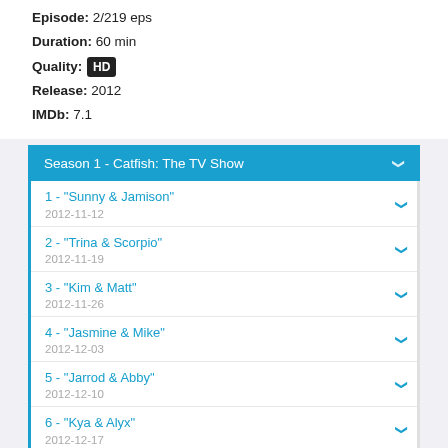Episode: 2/219 eps
Duration: 60 min
Quality: HD
Release: 2012
IMDb: 7.1
Season 1 - Catfish: The TV Show
1 - "Sunny & Jamison" 2012-11-12
2 - "Trina & Scorpio" 2012-11-19
3 - "Kim & Matt" 2012-11-26
4 - "Jasmine & Mike" 2012-12-03
5 - "Jarrod & Abby" 2012-12-10
6 - "Kya & Alyx" 2012-12-17
Season 2 - Catfish: The TV Show
0 - "Episode 00" N/A